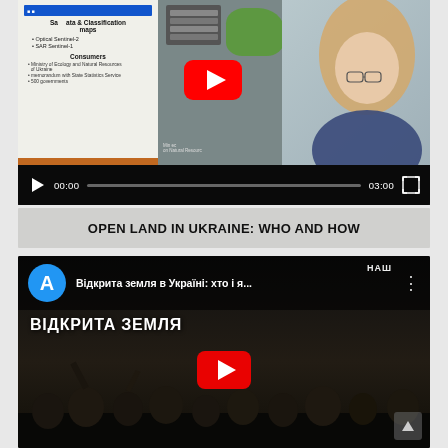[Figure (screenshot): YouTube video player showing a presentation slide with SAR data and classification maps (Optical Sentinel-2, SAR Sentinel-1), Consumers section, and a woman with glasses speaking. Video controls show 00:00 / 03:00 timestamps.]
OPEN LAND IN UKRAINE: WHO AND HOW
[Figure (screenshot): YouTube video thumbnail showing 'Відкрита земля в Україні: хто і я...' with blue avatar letter A, video title in Ukrainian, ВІДКРИТА ЗЕМЛЯ text overlay, audience in dark room, YouTube play button, and НАШ channel logo. Scroll-up arrow at bottom right.]